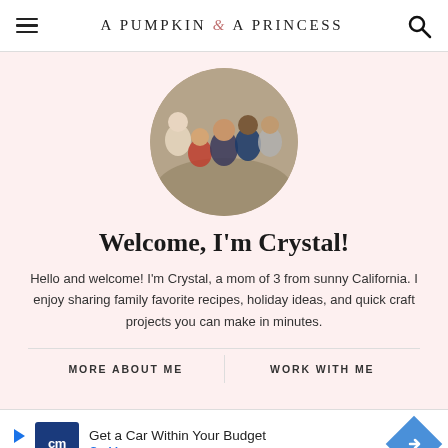A PUMPKIN & A PRINCESS
[Figure (photo): Circular cropped family photo showing five people posed together outdoors near a wooden fence and trees.]
Welcome, I'm Crystal!
Hello and welcome! I'm Crystal, a mom of 3 from sunny California. I enjoy sharing family favorite recipes, holiday ideas, and quick craft projects you can make in minutes.
MORE ABOUT ME
WORK WITH ME
Get a Car Within Your Budget CarMax